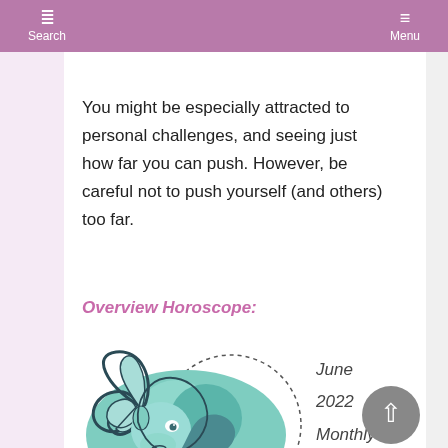Search   Menu
You might be especially attracted to personal challenges, and seeing just how far you can push. However, be careful not to push yourself (and others) too far.
Overview Horoscope:
[Figure (illustration): Illustration of Aries zodiac ram symbol in teal/green tones with decorative spiral horns, shown against a circular dotted outline]
June
2022
Monthly